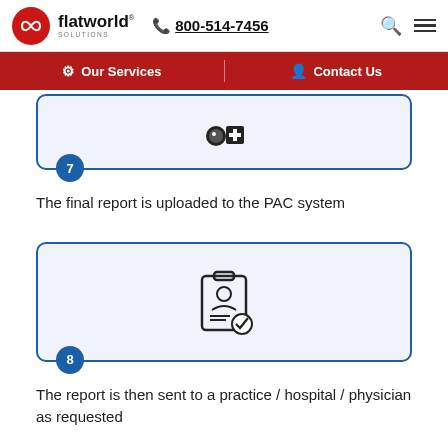flatworld solutions | 800-514-7456
[Figure (screenshot): Navigation bar with Our Services and Contact Us menu items on dark red background]
[Figure (illustration): Step 7 card with medical/upload icon showing the final report uploaded to PAC system]
The final report is uploaded to the PAC system
[Figure (illustration): Step 8 card with clipboard/person icon showing the report sent to practice/hospital/physician]
The report is then sent to a practice / hospital / physician as requested
Our Technological Infrastructure
With the widespread availability of the Internet, sharing